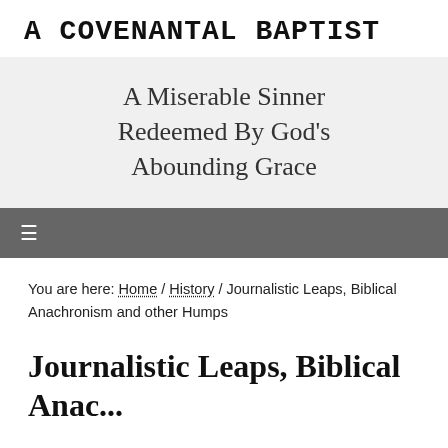A COVENANTAL BAPTIST
A Miserable Sinner Redeemed By God's Abounding Grace
You are here: Home / History / Journalistic Leaps, Biblical Anachronism and other Humps
Journalistic Leaps, Biblical Anachronism and other...